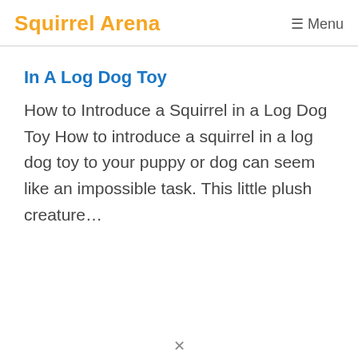Squirrel Arena   ☰ Menu
In A Log Dog Toy
How to Introduce a Squirrel in a Log Dog Toy How to introduce a squirrel in a log dog toy to your puppy or dog can seem like an impossible task. This little plush creature…